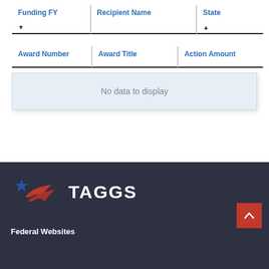| Funding FY | Recipient Name | State | Award Number | Award Title | Action Amount |
| --- | --- | --- | --- | --- | --- |
No data to display
[Figure (logo): TAGGS logo with blue star and red swoosh/wing graphic, white text TAGGS on dark background]
Federal Websites